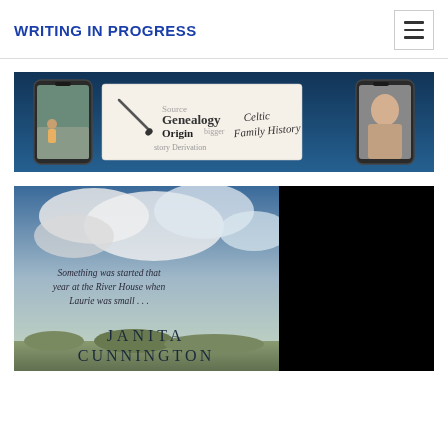WRITING IN PROGRESS
[Figure (screenshot): Website banner with dark blue ocean background showing two smartphone frames on either side and a central document image with text 'Genealogy', 'Origin', 'Source', 'Celtic Family History']
[Figure (photo): Book cover showing cloudy sky and grass with text 'Something was started that year at the River House when Laurie was small...' and author name 'JANITA CUNNINGTON', partially cut off at bottom. Right half is black.]